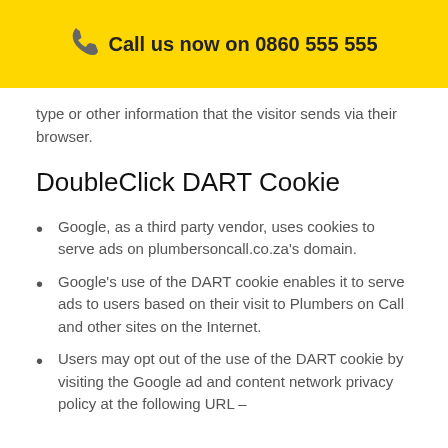Call us now on 0860 555 555
type or other information that the visitor sends via their browser.
DoubleClick DART Cookie
Google, as a third party vendor, uses cookies to serve ads on plumbersoncall.co.za's domain.
Google's use of the DART cookie enables it to serve ads to users based on their visit to Plumbers on Call and other sites on the Internet.
Users may opt out of the use of the DART cookie by visiting the Google ad and content network privacy policy at the following URL –